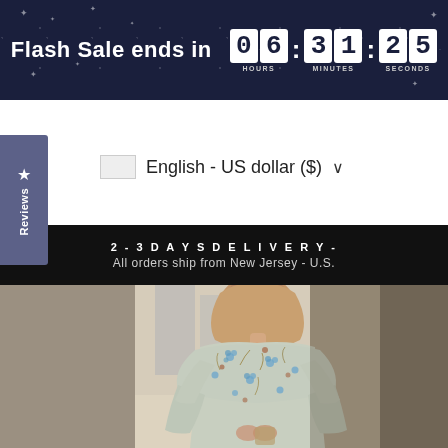[Figure (screenshot): Flash Sale countdown banner with dark navy background, white stars, text 'Flash Sale ends in' and a countdown timer showing 06:31:25 with HOURS, MINUTES, SECONDS labels below each pair of digits]
[Figure (infographic): Vertical purple Reviews tab on the left side with a star icon and 'Reviews' text written vertically]
English - US dollar ($)
2-3 DAYS DELIVERY - All orders ship from New Jersey - U.S.
[Figure (photo): A woman wearing a light gray floral dress with ruffled cape-style sleeves, featuring blue and brown floral print. She is wearing a hijab. The background shows a blurred outdoor/indoor setting.]